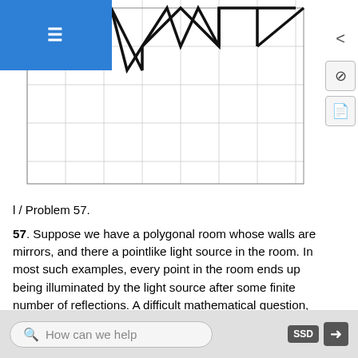[Figure (other): Grid coordinate plane with a polygonal path drawn using thick black lines, showing a shape with peaks and valleys on a grid. Blue hamburger menu bar in top-left corner.]
l / Problem 57.
57. Suppose we have a polygonal room whose walls are mirrors, and there a pointlike light source in the room. In most such examples, every point in the room ends up being illuminated by the light source after some finite number of reflections. A difficult mathematical question, first posed in the middle of the last century, is whether it is ever possible to have an example in which the whole room is not illuminated. (Rays are assumed to be absorbed if they strike
How can we help